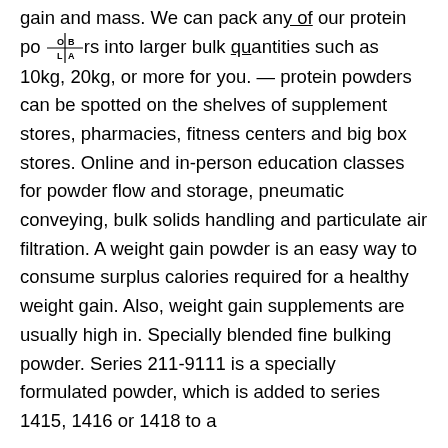gain and mass. We can pack any of our protein powders into larger bulk quantities such as 10kg, 20kg, or more for you. — protein powders can be spotted on the shelves of supplement stores, pharmacies, fitness centers and big box stores. Online and in-person education classes for powder flow and storage, pneumatic conveying, bulk solids handling and particulate air filtration. A weight gain powder is an easy way to consume surplus calories required for a healthy weight gain. Also, weight gain supplements are usually high in. Specially blended fine bulking powder. Series 211-9111 is a specially formulated powder, which is added to series 1415, 1416 or 1418 to a
Related Article:
https://www.caixadopicoledabahia.com/profile/cremarvarosp/profile
https://www.ilybeayoga.com/profile/cremarva